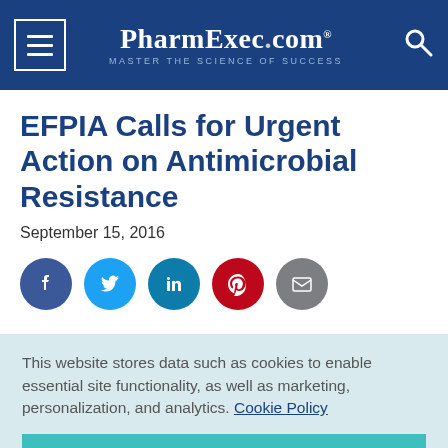PharmExec.com — MASTER THE SCIENCE OF SUCCESS
EFPIA Calls for Urgent Action on Antimicrobial Resistance
September 15, 2016
[Figure (infographic): Row of five social media share icons: Facebook (dark blue circle), Twitter (light blue circle), LinkedIn (teal circle), Pinterest (red circle), Email (grey circle)]
This website stores data such as cookies to enable essential site functionality, as well as marketing, personalization, and analytics. Cookie Policy
Accept
Deny